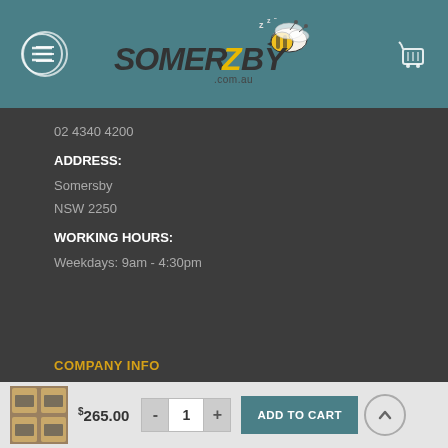[Figure (logo): Somerzby.com.au logo with bee illustration on teal header background with hamburger menu icon and cart icon]
02 4340 4200
ADDRESS:
Somersby
NSW 2250
WORKING HOURS:
Weekdays: 9am - 4:30pm
COMPANY INFO
[Figure (photo): Product thumbnail showing wooden hutch/rabbit enclosure]
$265.00
- 1 +
ADD TO CART